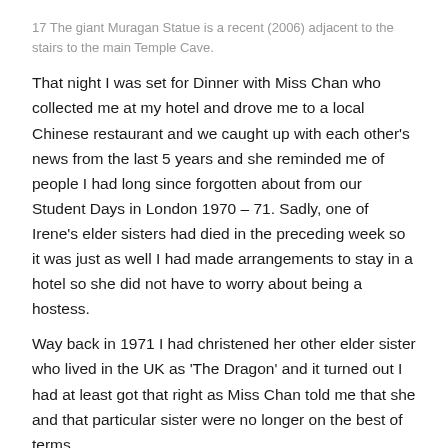17 The giant Muragan Statue is a recent (2006) adjacent to the stairs to the main Temple Cave.
That night I was set for Dinner with Miss Chan who collected me at my hotel and drove me to a local Chinese restaurant and we caught up with each other's news from the last 5 years and she reminded me of people I had long since forgotten about from our Student Days in London 1970 – 71. Sadly, one of Irene's elder sisters had died in the preceding week so it was just as well I had made arrangements to stay in a hotel so she did not have to worry about being a hostess.
Way back in 1971 I had christened her other elder sister who lived in the UK as 'The Dragon' and it turned out I had at least got that right as Miss Chan told me that she and that particular sister were no longer on the best of terms.